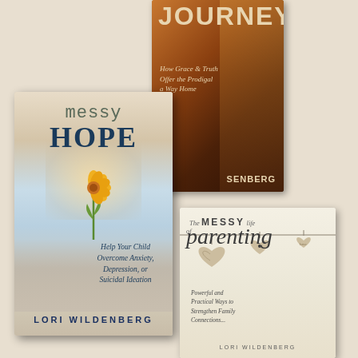[Figure (illustration): Three book covers by Lori Wildenberg arranged overlapping on a beige background. Top center: 'Journey – How Grace & Truth Offer the Prodigal a Way Home' with a dark warm-toned cover showing a person from behind. Center-left (largest): 'Messy Hope – Help Your Child Overcome Anxiety, Depression, or Suicidal Ideation' with a flower growing through cracked pavement. Bottom-right: 'The Messy Life of Parenting – Powerful and Practical Ways to Strengthen Family Connections' with hanging ceramic heart ornaments.]